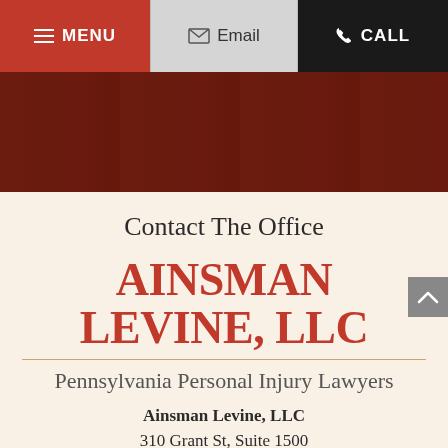MENU | Email | CALL
[Figure (photo): Dark red tinted hero background image of a building/industrial scene]
Contact The Office
AINSMAN LEVINE, LLC
Pennsylvania Personal Injury Lawyers
Ainsman Levine, LLC
310 Grant St, Suite 1500
Pittsburgh, PA 15219-2300
Pittsburgh Office